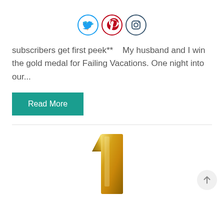[Figure (illustration): Three social media icon circles: Twitter (blue bird), Pinterest (red P), Instagram (dark camera)]
subscribers get first peek**   My husband and I win the gold medal for Failing Vacations. One night into our...
Read More
[Figure (photo): A shiny gold number 1 trophy or decoration, partially cropped at bottom of page]